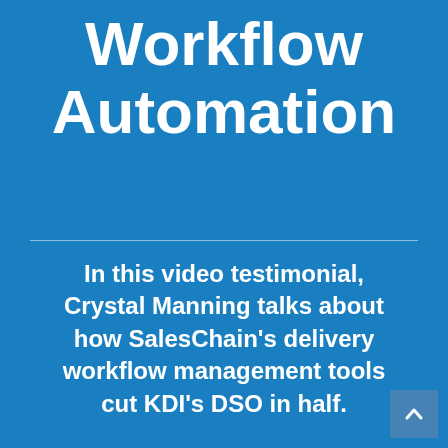Workflow Automation
In this video testimonial, Crystal Manning talks about how SalesChain's delivery workflow management tools cut KDI's DSO in half.